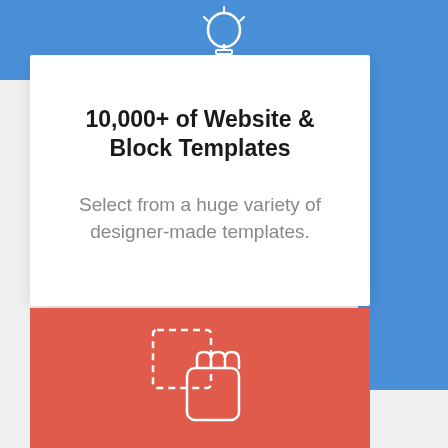[Figure (illustration): Blue background panel with white lightbulb icon at top]
10,000+ of Website & Block Templates
Select from a huge variety of designer-made templates.
[Figure (illustration): Red/coral background panel with white dashed rectangle and hand cursor icon]